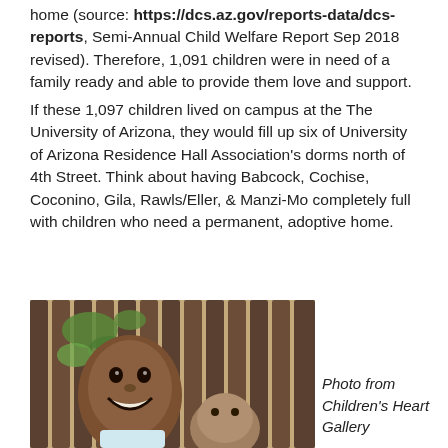home (source: https://dcs.az.gov/reports-data/dcs-reports, Semi-Annual Child Welfare Report Sep 2018 revised). Therefore, 1,091 children were in need of a family ready and able to provide them love and support.
If these 1,097 children lived on campus at the The University of Arizona, they would fill up six of University of Arizona Residence Hall Association's dorms north of 4th Street. Think about having Babcock, Cochise, Coconino, Gila, Rawls/Eller, & Manzi-Mo completely full with children who need a permanent, adoptive home.
[Figure (photo): Photo of two smiling children behind a wooden fence with green plants, from Children's Heart Gallery]
Photo from Children's Heart Gallery